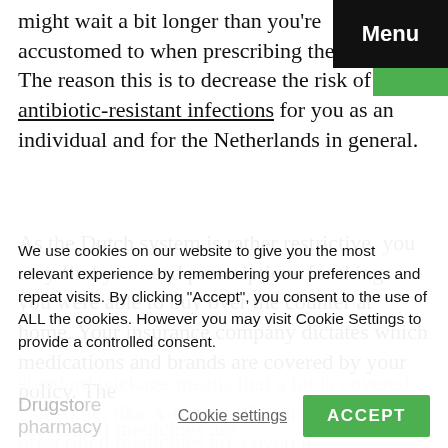might wait a bit longer than you're accustomed to when prescribing them to you. The reason this is to decrease the risk of antibiotic-resistant infections for you as an individual and for the Netherlands in general.
As the Dutch system is rather restrictive, you may find you need prescriptions for things you were able to buy over the counter at home. Your insurance company dictates which medications and brands are covered by your policy. The
standard package means that a lot is covered. But some, like A-brands, GP and other prescribed medicines are covered.
We use cookies on our website to give you the most relevant experience by remembering your preferences and repeat visits. By clicking "Accept", you consent to the use of ALL the cookies. However you may visit Cookie Settings to provide a controlled consent.
Drugstore pharmacy
Cookie settings
ACCEPT